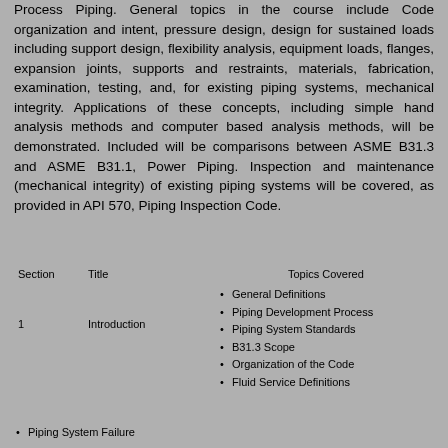Process Piping. General topics in the course include Code organization and intent, pressure design, design for sustained loads including support design, flexibility analysis, equipment loads, flanges, expansion joints, supports and restraints, materials, fabrication, examination, testing, and, for existing piping systems, mechanical integrity. Applications of these concepts, including simple hand analysis methods and computer based analysis methods, will be demonstrated. Included will be comparisons between ASME B31.3 and ASME B31.1, Power Piping. Inspection and maintenance (mechanical integrity) of existing piping systems will be covered, as provided in API 570, Piping Inspection Code.
| Section | Title | Topics Covered |
| --- | --- | --- |
| 1 | Introduction | General Definitions • Piping Development Process • Piping System Standards • B31.3 Scope • Organization of the Code • Fluid Service Definitions |
|  |  | Piping System Failure |